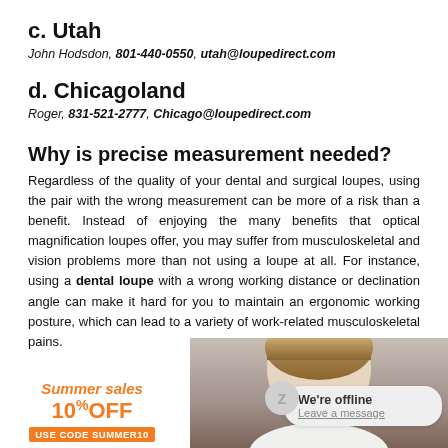c. Utah
John Hodsdon, 801-440-0550, utah@loupedirect.com
d. Chicagoland
Roger, 831-521-2777, Chicago@loupedirect.com
Why is precise measurement needed?
Regardless of the quality of your dental and surgical loupes, using the pair with the wrong measurement can be more of a risk than a benefit. Instead of enjoying the many benefits that optical magnification loupes offer, you may suffer from musculoskeletal and vision problems more than not using a loupe at all. For instance, using a dental loupe with a wrong working distance or declination angle can make it hard for you to maintain an ergonomic working posture, which can lead to a variety of work-related musculoskeletal pains.
[Figure (photo): Woman wearing dental loupes, bottom portion of face and head visible, with a summer sales promotional banner (10% OFF, USE CODE SUMMER10) in the lower left and an offline chat bubble in the lower right.]